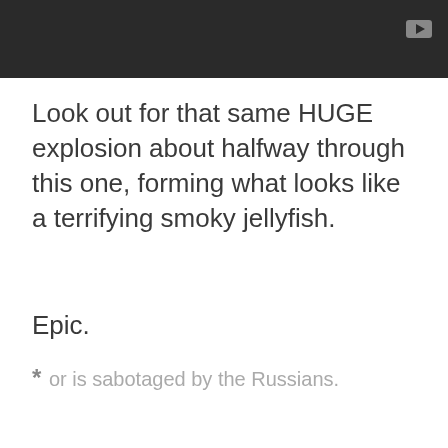[Figure (screenshot): Dark video player bar with a play button icon in the top right corner]
Look out for that same HUGE explosion about halfway through this one, forming what looks like a terrifying smoky jellyfish.
Epic.
* or is sabotaged by the Russians.